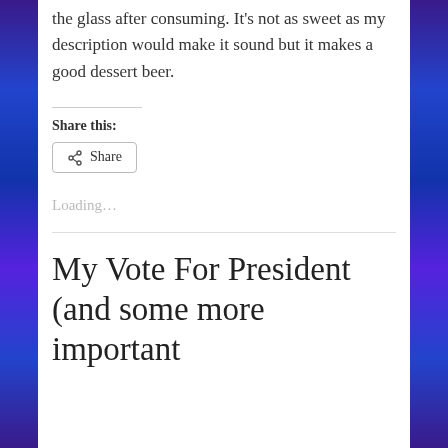the glass after consuming. It's not as sweet as my description would make it sound but it makes a good dessert beer.
Share this:
Share
Loading...
My Vote For President (and some more important